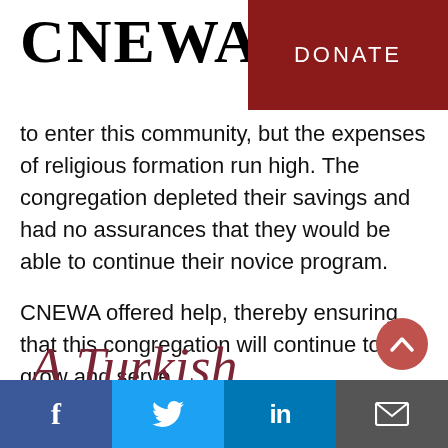CNEWA
[Figure (other): DONATE button — dark red/maroon rectangle with white text 'DONATE']
to enter this community, but the expenses of religious formation run high. The congregation depleted their savings and had no assurances that they would be able to continue their novice program.
CNEWA offered help, thereby ensuring that this congregation will continue to grow and serve.
A Turkish
[Figure (other): Circular scroll-up arrow button in muted red]
Social share bar: Facebook, Twitter, LinkedIn, Email